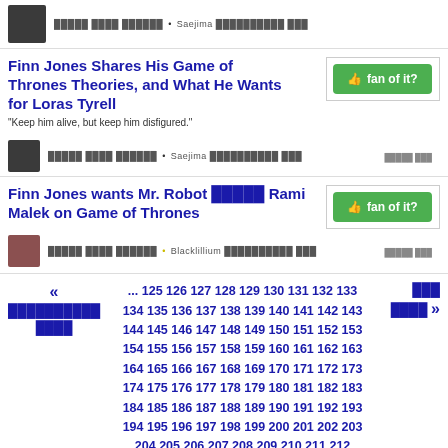█████ ████ ██████ • Saejima ██████████ ███
Finn Jones Shares His Game of Thrones Theories, and What He Wants for Loras Tyrell
"Keep him alive, but keep him disfigured."
█████ ████ ██████ • Saejima ██████████ ███
Finn Jones wants Mr. Robot █████ Rami Malek on Game of Thrones
█████ ████ ██████ • Blacklillium ██████████ ███
« ██████████ ████   ... 125 126 127 128 129 130 131 132 133 134 135 136 137 138 139 140 141 142 143 144 145 146 147 148 149 150 151 152 153 154 155 156 157 158 159 160 161 162 163 164 165 166 167 168 169 170 171 172 173 174 175 176 177 178 179 180 181 182 183 184 185 186 187 188 189 190 191 192 193 194 195 196 197 198 199 200 201 202 203 204 205 206 207 208 209 210 211 212   ███ ████ »